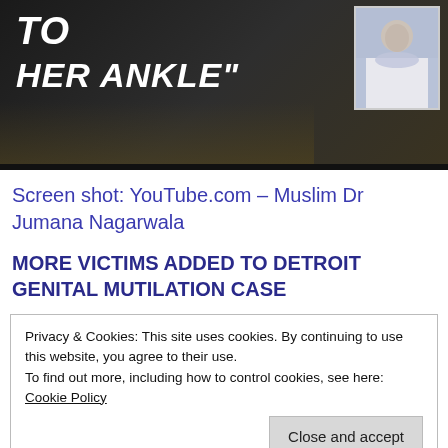[Figure (screenshot): Dark background screenshot showing text 'TO HER ANKLE"' in white italic bold font, with a photo of a woman wearing a blue hijab and white coat on the right side]
Screen shot: YouTube.com – Muslim Dr Jumana Nagarwala
MORE VICTIMS ADDED TO DETROIT GENITAL MUTILATION CASE
Privacy & Cookies: This site uses cookies. By continuing to use this website, you agree to their use.
To find out more, including how to control cookies, see here: Cookie Policy
[Close and accept]
since posted bail